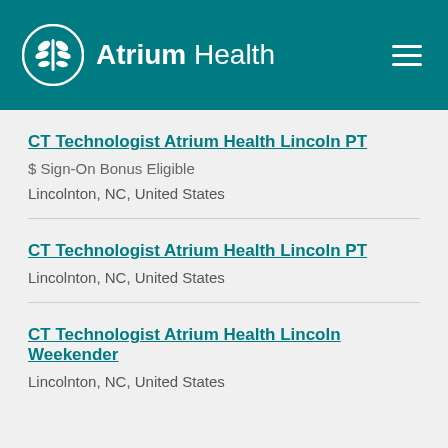Atrium Health
CT Technologist Atrium Health Lincoln PT
$ Sign-On Bonus Eligible
Lincolnton, NC, United States
CT Technologist Atrium Health Lincoln PT
Lincolnton, NC, United States
CT Technologist Atrium Health Lincoln Weekender
Lincolnton, NC, United States